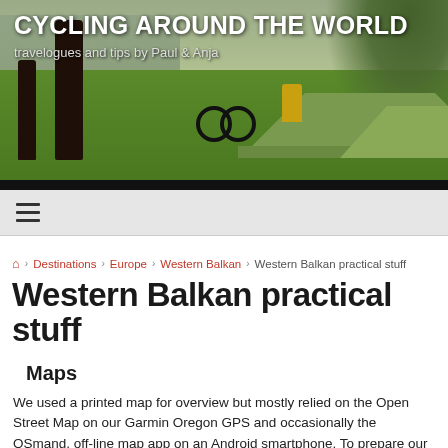CYCLING AROUND THE WORLD
travelogues and tips by Paul & Anja
[Figure (photo): Outdoor photo showing a green tent and bicycle on grass near a river with trees, a person in a yellow jacket nearby]
≡
🏠 › Destinations › Europe › Western Balkan › Western Balkan practical stuff
Western Balkan practical stuff
Maps
We used a printed map for overview but mostly relied on the Open Street Map on our Garmin Oregon GPS and occasionally the OSmand, off-line map app on an Android smartphone. To prepare our trip we used